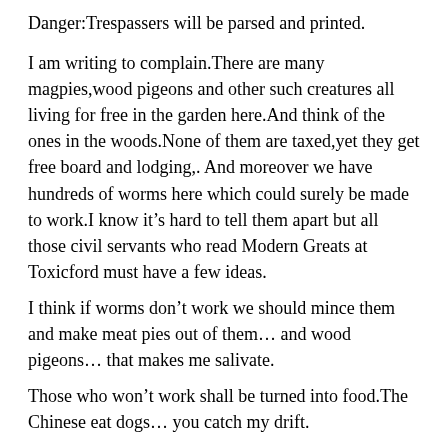Danger:Trespassers will be parsed and printed.
I am writing to complain.There are many magpies,wood pigeons and other such creatures all living for free in the garden here.And think of the ones in the woods.None of them are taxed,yet they get free board and lodging,. And moreover we have hundreds of worms here which could surely be made to work.I know it’s hard to tell them apart but all those civil servants who read Modern Greats at Toxicford must have a few ideas.
I think if worms don’t work we should mince them and make meat pies out of them… and wood pigeons… that makes me salivate.
Those who won’t work shall be turned into food.The Chinese eat dogs… you catch my drift.
Hard solutions for hard times, to warm an old cliche.